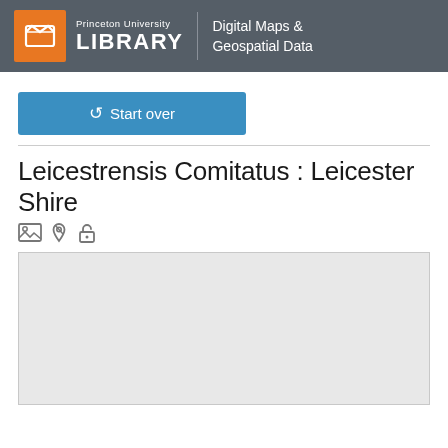Princeton University LIBRARY | Digital Maps & Geospatial Data
↺ Start over
Leicestrensis Comitatus : Leicester Shire
[Figure (other): Row of small icons: image icon, map pin icon, unlock/open padlock icon]
[Figure (other): Light gray map preview area with border, content loading or blank]